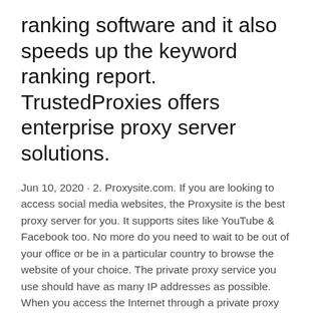ranking software and it also speeds up the keyword ranking report. TrustedProxies offers enterprise proxy server solutions.
Jun 10, 2020 · 2. Proxysite.com. If you are looking to access social media websites, the Proxysite is the best proxy server for you. It supports sites like YouTube & Facebook too. No more do you need to wait to be out of your office or be in a particular country to browse the website of your choice. The private proxy service you use should have as many IP addresses as possible. When you access the Internet through a private proxy service, one of these IP addresses is displayed rather than your personal IP. To further protect your anonymity, you can cycle through several IP addresses. Extremely good service. Fast, helpful and pleasant support. I guess this is the best proxy service, practically better...